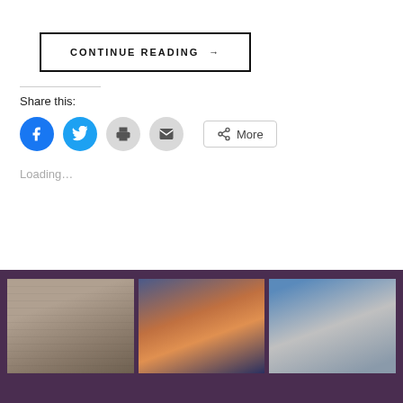CONTINUE READING →
Share this:
[Figure (infographic): Social sharing icons: Facebook (blue circle), Twitter (blue circle), Print (grey circle), Email (grey circle), and a More button with share icon]
Loading...
[Figure (photo): Gallery block with dark purple/mauve border containing three travel photos: stone garden/tomb, Jerusalem cityscape at sunset, Western Wall with dome]